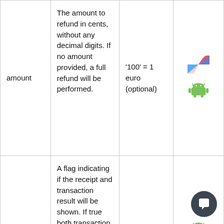| amount | The amount to refund in cents, without any decimal digits. If no amount provided, a full refund will be performed. | '100' = 1 euro (optional) | [icons: brand + android] |
|  | A flag indicating if the receipt and transaction result will be shown. If true both transaction result and |  | [android icon + chat button] |